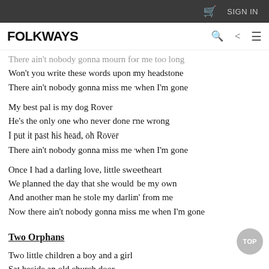FOLKWAYS  [cart icon]  SIGN IN
There ain't nobody gonna mourn for me too long
Won't you write these words upon my headstone
There ain't nobody gonna miss me when I'm gone
My best pal is my dog Rover
He's the only one who never done me wrong
I put it past his head, oh Rover
There ain't nobody gonna miss me when I'm gone
Once I had a darling love, little sweetheart
We planned the day that she would be my own
And another man he stole my darlin' from me
Now there ain't nobody gonna miss me when I'm gone
Two Orphans
Two little children a boy and a girl
Sat beside an old church door